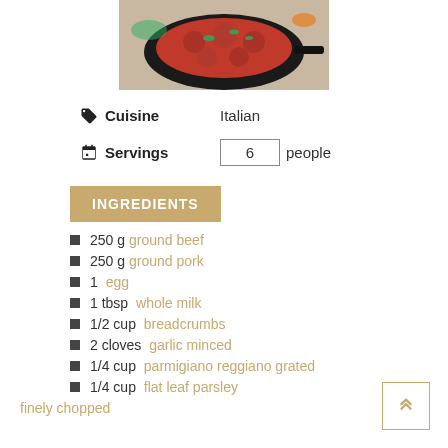[Figure (photo): A black skillet with meatballs in tomato sauce, garnished with herbs, viewed from above]
Cuisine   Italian
Servings   6 people
INGREDIENTS
250 g ground beef
250 g ground pork
1 egg
1 tbsp whole milk
1/2 cup breadcrumbs
2 cloves garlic minced
1/4 cup parmigiano reggiano grated
1/4 cup flat leaf parsley finely chopped